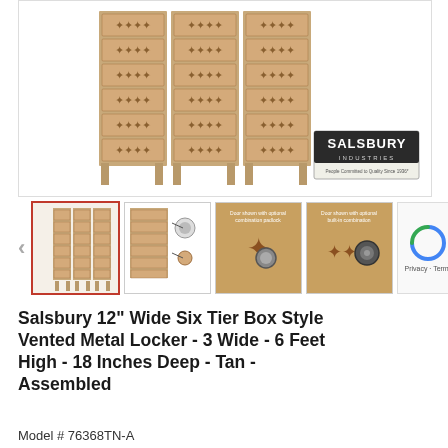[Figure (photo): Main product photo of Salsbury 12" Wide Six Tier Box Style Vented Metal Locker, 3 wide, tan color, with Salsbury Industries logo in lower right corner]
[Figure (photo): Thumbnail row with 4 product images: active thumbnail showing lockers (red border), locker detail diagram, close-up of combination lock option, close-up of built-in combination lock option. Left navigation arrow visible.]
Salsbury 12" Wide Six Tier Box Style Vented Metal Locker - 3 Wide - 6 Feet High - 18 Inches Deep - Tan - Assembled
Model # 76368TN-A